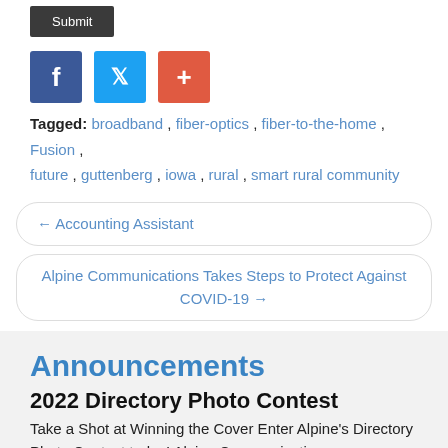[Figure (screenshot): Submit button (dark background)]
[Figure (screenshot): Social share icons: Facebook (blue), Twitter (light blue), Plus/Add (red-orange)]
Tagged: broadband , fiber-optics , fiber-to-the-home , Fusion , future , guttenberg , iowa , rural , smart rural community
← Accounting Assistant
Alpine Communications Takes Steps to Protect Against COVID-19 →
Announcements
2022 Directory Photo Contest
Take a Shot at Winning the Cover Enter Alpine's Directory Photo Contest today! Alpine Communications